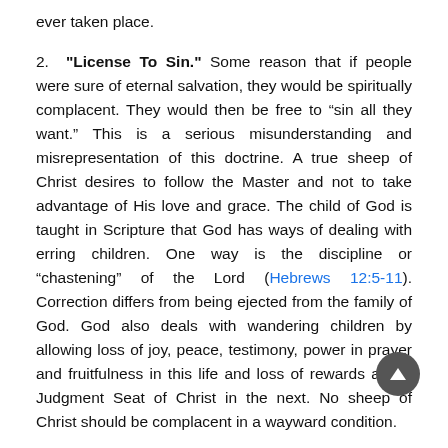ever taken place.
2. "License To Sin." Some reason that if people were sure of eternal salvation, they would be spiritually complacent. They would then be free to “sin all they want.” This is a serious misunderstanding and misrepresentation of this doctrine. A true sheep of Christ desires to follow the Master and not to take advantage of His love and grace. The child of God is taught in Scripture that God has ways of dealing with erring children. One way is the discipline or “chastening” of the Lord (Hebrews 12:5-11). Correction differs from being ejected from the family of God. God also deals with wandering children by allowing loss of joy, peace, testimony, power in prayer and fruitfulness in this life and loss of rewards at the Judgment Seat of Christ in the next. No sheep of Christ should be complacent in a wayward condition.
3. Scriptures Which “Conflict” With Eternal Salvation. Some seek to refute the doctrine of eternal salvation by citing Scriptures that seem to contradict such a teaching. However,